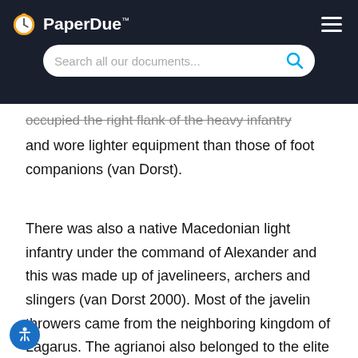PaperDue™ — Search all our documents...
occupied the right flank of the heavy infantry and wore lighter equipment than those of foot companions (van Dorst).
There was also a native Macedonian light infantry under the command of Alexander and this was made up of javelineers, archers and slingers (van Dorst 2000). Most of the javelin throwers came from the neighboring kingdom of Lagarus. The agrianoi also belonged to the elite